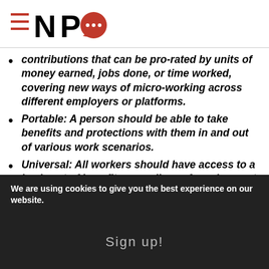NPQ logo
contributions that can be pro-rated by units of money earned, jobs done, or time worked, covering new ways of micro-working across different employers or platforms.
Portable: A person should be able to take benefits and protections with them in and out of various work scenarios.
Universal: All workers should have access to a basic set of benefits regardless of employment status.
We are using cookies to give you the best experience on our website.
Sign up!